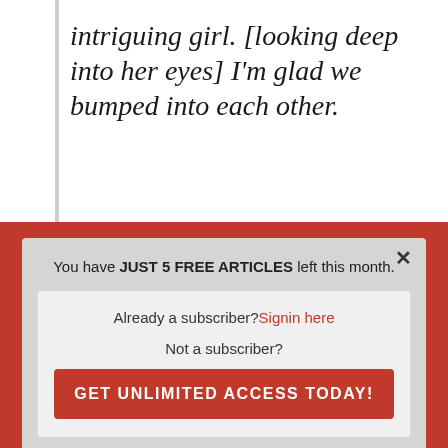intriguing girl. [looking deep into her eyes] I'm glad we bumped into each other.
She will probably blush a little. And at this point, you want to go into introductions and building rapport. You can include the
× You have JUST 5 FREE ARTICLES left this month. Already a subscriber? Signin here Not a subscriber? GET UNLIMITED ACCESS TODAY!